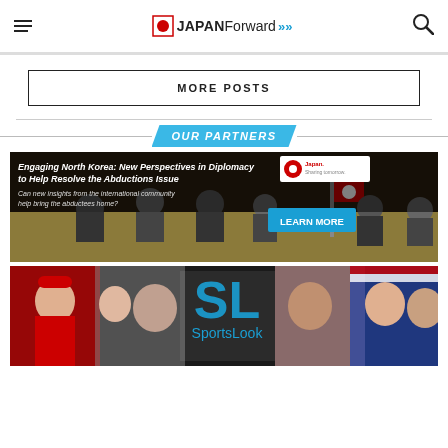JAPAN Forward
MORE POSTS
OUR PARTNERS
[Figure (photo): Banner ad: Engaging North Korea: New Perspectives in Diplomacy to Help Resolve the Abductions Issue. Can new insights from the international community help bring the abductees home? LEARN MORE button. Photo of diplomats at a conference table with Japanese flag.]
[Figure (photo): SportsLook banner ad showing Japanese athletes including boxers, figure skaters, and wrestlers. SL logo in center with 'SportsLook' text.]